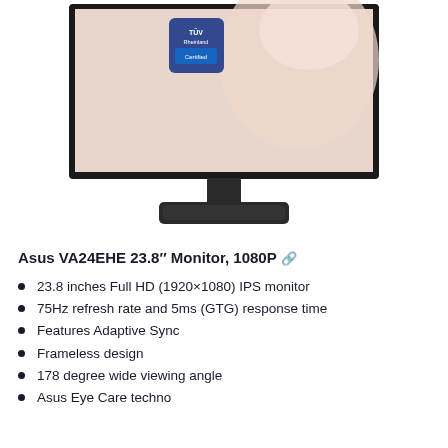[Figure (photo): ASUS VA24EHE monitor shown from front angle with TÜV Rheinland certification badge on screen, black stand and base visible]
Asus VA24EHE 23.8″ Monitor, 1080P 🔗
23.8 inches Full HD (1920×1080) IPS monitor
75Hz refresh rate and 5ms (GTG) response time
Features Adaptive Sync
Frameless design
178 degree wide viewing angle
Asus Eye Care technology